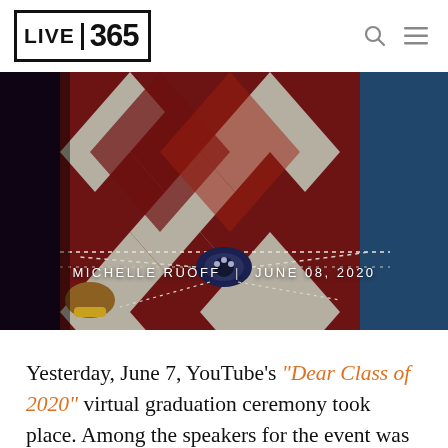LIVE 365
[Figure (photo): Hero image showing a performer in a decorative red and white patterned costume with pearl beading and a jeweled belt buckle, with a blue background on the right side. Overlaid text shows byline and date.]
MICHELLE RUOFF | JUNE 08, 2020
Yesterday, June 7, YouTube's "Dear Class of 2020" virtual graduation ceremony took place. Among the speakers for the event was Beyoncé,